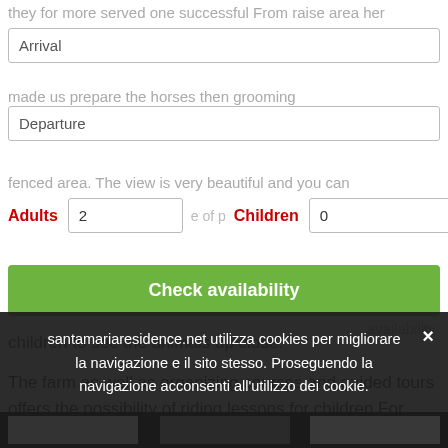they for more served one successful From raise area her
Arrival
made us prepare the horses then grooming
Departure
fenced area. The view is very beautiful and you can
Adults 2   Children 0
Check availability
children to see the animals up close.
The farm as well as organizing courses and guided tours offers the possibility of riding lessons for children For more info: https://www.facebook.com/azagrilpaesedellemera viglie/
Per mo... https://www.facebook.com/azagrilpaesedellemera viglie/
santamariaresidence.net utilizza cookies per migliorare la navigazione e il sito stesso. Proseguendo la navigazione acconsenti all'utilizzo dei cookie.